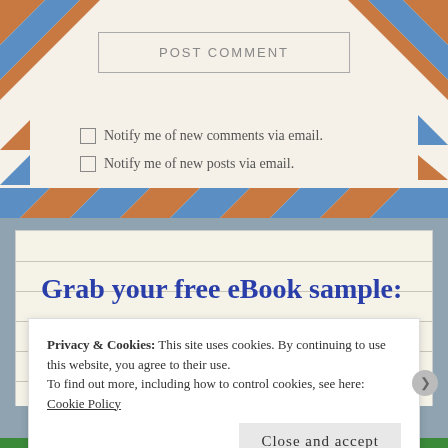POST COMMENT
Notify me of new comments via email.
Notify me of new posts via email.
Grab your free eBook sample:
The Forest Bed
Privacy & Cookies: This site uses cookies. By continuing to use this website, you agree to their use.
To find out more, including how to control cookies, see here: Cookie Policy
Close and accept